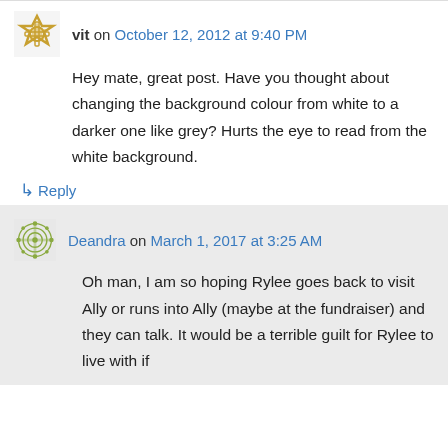vit on October 12, 2012 at 9:40 PM
Hey mate, great post. Have you thought about changing the background colour from white to a darker one like grey? Hurts the eye to read from the white background.
↳ Reply
Deandra on March 1, 2017 at 3:25 AM
Oh man, I am so hoping Rylee goes back to visit Ally or runs into Ally (maybe at the fundraiser) and they can talk. It would be a terrible guilt for Rylee to live with if